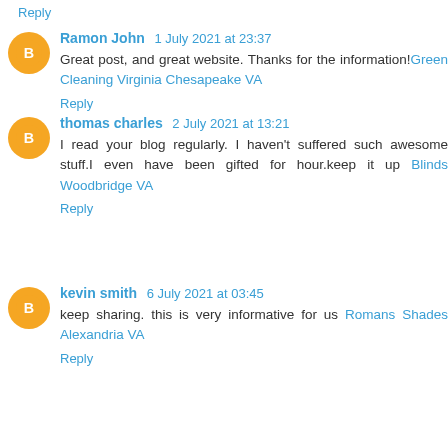Reply
Ramon John  1 July 2021 at 23:37
Great post, and great website. Thanks for the information!Green Cleaning Virginia Chesapeake VA
Reply
thomas charles  2 July 2021 at 13:21
I read your blog regularly. I haven't suffered such awesome stuff.I even have been gifted for hour.keep it up Blinds Woodbridge VA
Reply
kevin smith  6 July 2021 at 03:45
keep sharing. this is very informative for us Romans Shades Alexandria VA
Reply